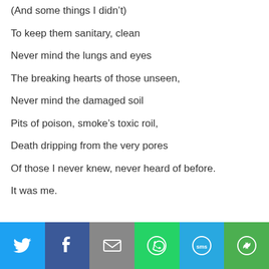(And some things I didn't)
To keep them sanitary, clean
Never mind the lungs and eyes
The breaking hearts of those unseen,
Never mind the damaged soil
Pits of poison, smoke’s toxic roil,
Death dripping from the very pores
Of those I never knew, never heard of before.
It was me.
[Figure (infographic): Social share bar with icons for Twitter (blue), Facebook (dark blue), Email (grey), WhatsApp (green), SMS (light blue), More (green)]